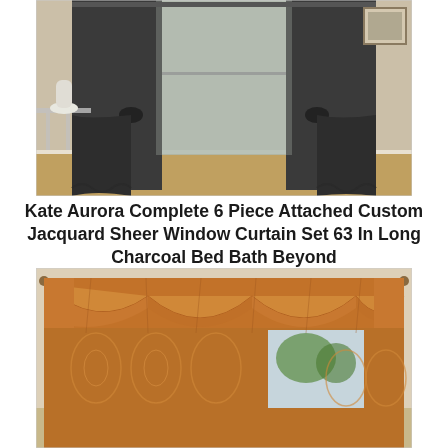[Figure (photo): Dark charcoal/grey window curtain set with sheer panel behind, tied back on both sides, hung in a room with beige walls, hardwood floor, white base molding, a small glass side table with white vase on the left, and a framed picture on the right wall.]
Kate Aurora Complete 6 Piece Attached Custom Jacquard Sheer Window Curtain Set 63 In Long Charcoal Bed Bath Beyond
[Figure (photo): Ornate bronze/copper jacquard patterned curtain set with an elaborate swag valance across the top, featuring a damask-style pattern, hung in a room with a window showing greenery outside.]